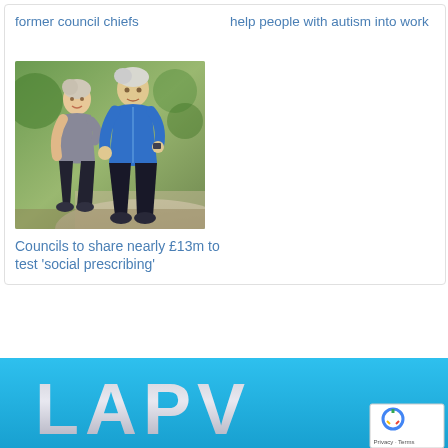former council chiefs
help people with autism into work
[Figure (photo): Two older adults jogging outdoors — a woman in grey athletic wear and a man in a blue jacket, running on a path surrounded by greenery]
Councils to share nearly £13m to test 'social prescribing'
[Figure (logo): LAPV logo — large silver/grey block letters 'LAPV' on a bright blue background, with reCAPTCHA badge in bottom right corner]